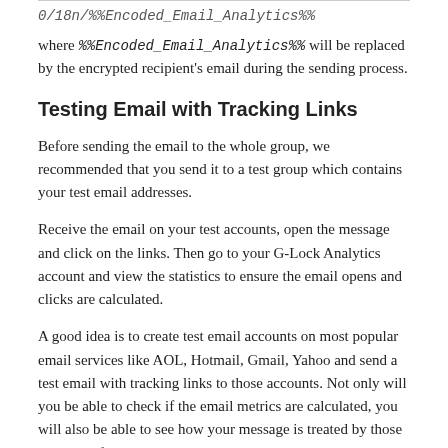0/18n/%%Encoded_Email_Analytics%%
where %%Encoded_Email_Analytics%% will be replaced by the encrypted recipient's email during the sending process.
Testing Email with Tracking Links
Before sending the email to the whole group, we recommended that you send it to a test group which contains your test email addresses.
Receive the email on your test accounts, open the message and click on the links. Then go to your G-Lock Analytics account and view the statistics to ensure the email opens and clicks are calculated.
A good idea is to create test email accounts on most popular email services like AOL, Hotmail, Gmail, Yahoo and send a test email with tracking links to those accounts. Not only will you be able to check if the email metrics are calculated, you will also be able to see how your message is treated by those services. If your email arrives into the Bulk or Junk Email folder on any of your test accounts,